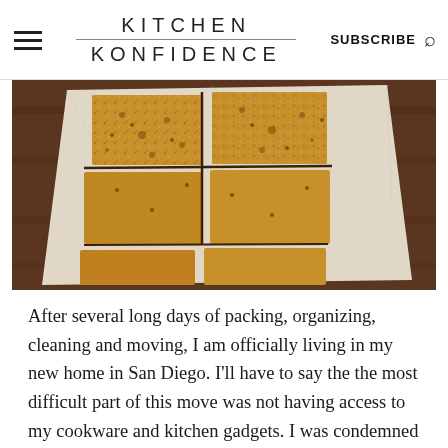KITCHEN KONFIDENCE | SUBSCRIBE
[Figure (photo): Overhead shot of granola bars cut into rectangles, arranged on crumpled white parchment paper on a dark wood surface.]
After several long days of packing, organizing, cleaning and moving, I am officially living in my new home in San Diego.  I'll have to say the the most difficult part of this move was not having access to my cookware and kitchen gadgets.  I was condemned to eat fast food many days in a row.  Don't get me wrong, I enjoy a good Doritos